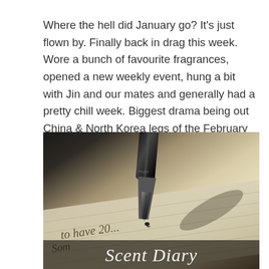Where the hell did January go? It's just flown by. Finally back in drag this week. Wore a bunch of favourite fragrances, opened a new weekly event, hung a bit with Jin and our mates and generally had a pretty chill week. Biggest drama being out China & North Korea legs of the February trip cancelled because of coronavirus.
[Figure (photo): Close-up photograph of a fountain pen nib writing on lined paper in cursive, with the text 'Scent Diary' overlaid in white cursive script at the bottom of the image.]